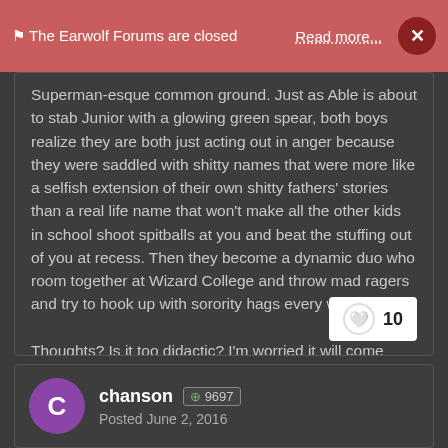⚑ The Earwolf Forums are closed   Read more...   ×
Superman-esque common ground. Just as Able is about to stab Junior with a glowing green spear, both boys realize they are both just acting out in anger because they were saddled with shitty names that were more like a selfish extension of their own shitty fathers' stories than a real life name that won't make all the other kids in school shoot spitballs at you and beat the stuffing out of you at recess. Then they become a dynamic duo who room together at Wizard College and throw mad ragers and try to hook up with sorority hags every weekend.

Thoughts? Is it too didactic? I'm worried it will come across as just a paper-thin allegory with the moral of not naming your kid stupid things like Apple, North West or Le-dash-a.
10
chanson  ⊕ 9697
Posted June 2, 2016